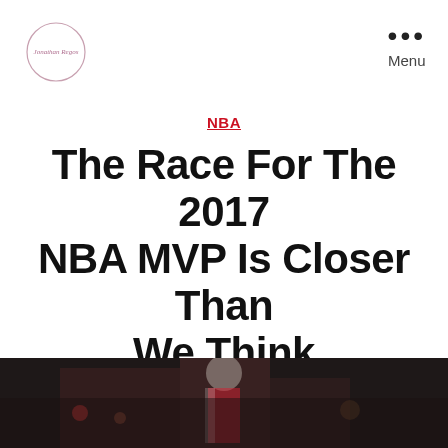Jonathan Regos (logo / site name)
NBA
The Race For The 2017 NBA MVP Is Closer Than We Think
By jregos   March 13, 2017   99 Comments
[Figure (photo): Dark photo strip showing a basketball player in a red uniform, partially visible at the bottom of the page]